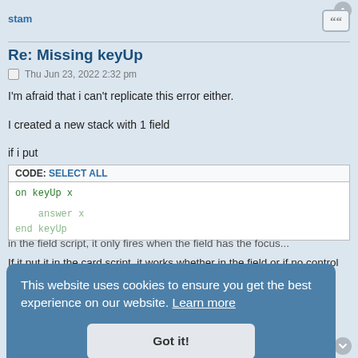stam
Re: Missing keyUp
Thu Jun 23, 2022 2:32 pm
I'm afraid that i can't replicate this error either.
I created a new stack with 1 field
if i put
CODE: SELECT ALL
on keyUp x
   answer x
end keyUp
in the field script, it only fires when the field has the focus...
If it put it in the card script, it works whether in the field or if no control has the focus...
sorry...
(LC 10 DP3, on MacOS)
This website uses cookies to ensure you get the best experience on our website. Learn more
Got it!